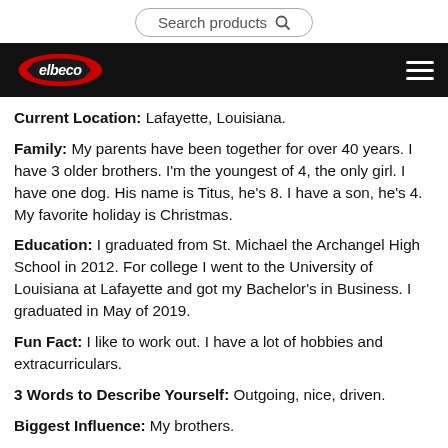Search products
[Figure (logo): Elbeco logo on black navigation bar with hamburger menu icon]
Current Location: Lafayette, Louisiana.
Family: My parents have been together for over 40 years. I have 3 older brothers. I'm the youngest of 4, the only girl. I have one dog. His name is Titus, he's 8. I have a son, he's 4. My favorite holiday is Christmas.
Education: I graduated from St. Michael the Archangel High School in 2012. For college I went to the University of Louisiana at Lafayette and got my Bachelor's in Business. I graduated in May of 2019.
Fun Fact: I like to work out. I have a lot of hobbies and extracurriculars.
3 Words to Describe Yourself: Outgoing, nice, driven.
Biggest Influence: My brothers.
Hobbies: I play a lot of beach volleyball. Extracurricular